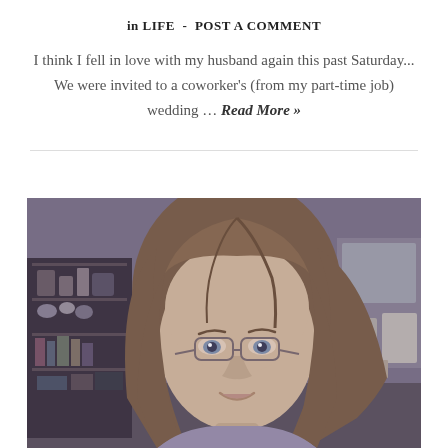in LIFE - POST A COMMENT
I think I fell in love with my husband again this past Saturday... We were invited to a coworker's (from my part-time job) wedding ... Read More »
[Figure (photo): Close-up photo of a young woman with long brown hair and glasses, smiling slightly, in a home interior setting with shelves visible in the background. The photo has a muted, slightly purple-tinted tone.]